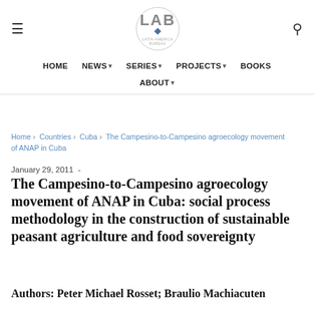[Figure (logo): LAB Latin America Bureau logo in a circle]
HOME   NEWS ▾   SERIES ▾   PROJECTS ▾   BOOKS   ABOUT ▾
Home › Countries › Cuba › The Campesino-to-Campesino agroecology movement of ANAP in Cuba
January 29, 2011  -
The Campesino-to-Campesino agroecology movement of ANAP in Cuba: social process methodology in the construction of sustainable peasant agriculture and food sovereignty
Authors: Peter Michael Rosset; Braulio Machiacuten